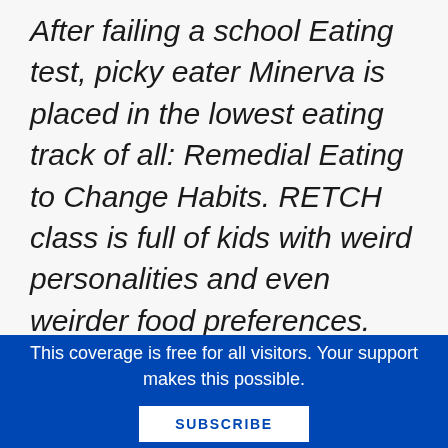After failing a school Eating test, picky eater Minerva is placed in the lowest eating track of all: Remedial Eating to Change Habits. RETCH class is full of kids with weird personalities and even weirder food preferences. And to make matters worse, Minerva's best friends in the Gifted and Gourmet class no longer speak to
This coverage is free for all visitors. Your support makes this possible.
SUBSCRIBE